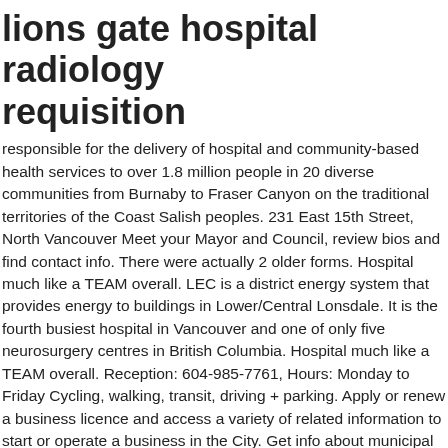lions gate hospital radiology requisition
responsible for the delivery of hospital and community-based health services to over 1.8 million people in 20 diverse communities from Burnaby to Fraser Canyon on the traditional territories of the Coast Salish peoples. 231 East 15th Street, North Vancouver Meet your Mayor and Council, review bios and find contact info. There were actually 2 older forms. Hospital much like a TEAM overall. LEC is a district energy system that provides energy to buildings in Lower/Central Lonsdale. It is the fourth busiest hospital in Vancouver and one of only five neurosurgery centres in British Columbia. Hospital much like a TEAM overall. Reception: 604-985-7761, Hours: Monday to Friday Cycling, walking, transit, driving + parking. Apply or renew a business licence and access a variety of related information to start or operate a business in the City. Get info about municipal elections and the election process. Housing, land use, grants/funding, children, youth & families, seniors + more. Explore properties in the City that have recently received a rezoning application. Hours of operation: 24/7 Copyright © 2020, City of North Vancouver. VGH & UBC Hospital Foundation; Richmond Hospital Foundation; Lions Gate Hospital Foundation; Our